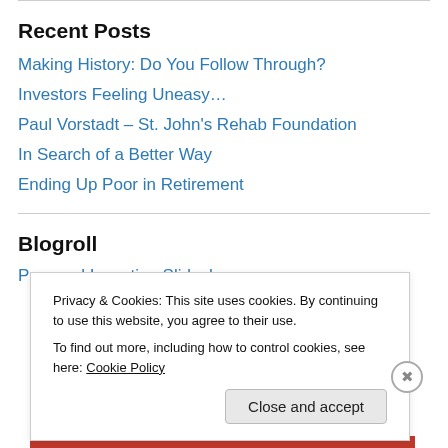Recent Posts
Making History: Do You Follow Through?
Investors Feeling Uneasy…
Paul Vorstadt – St. John's Rehab Foundation
In Search of a Better Way
Ending Up Poor in Retirement
Blogroll
Privacy & Cookies: This site uses cookies. By continuing to use this website, you agree to their use.
To find out more, including how to control cookies, see here: Cookie Policy
Close and accept